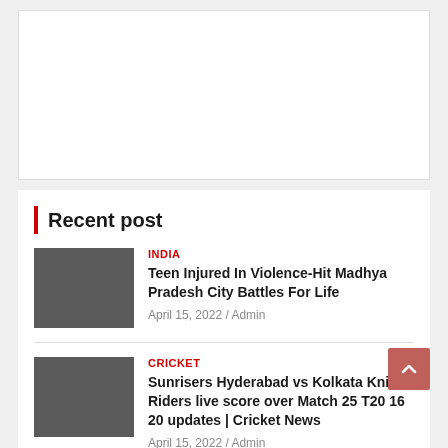[Figure (other): White advertisement/placeholder box]
Recent post
INDIA | Teen Injured In Violence-Hit Madhya Pradesh City Battles For Life | April 15, 2022 / Admin
CRICKET | Sunrisers Hyderabad vs Kolkata Knight Riders live score over Match 25 T20 16 20 updates | Cricket News | April 15, 2022 / Admin
WORLD